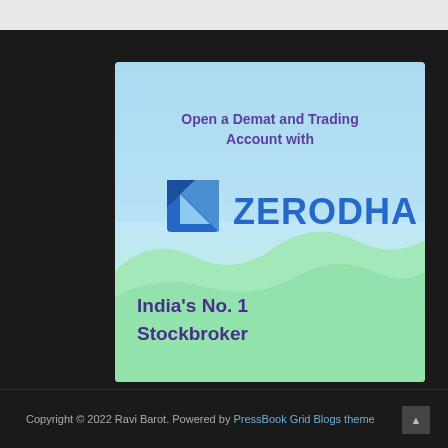[Figure (illustration): Zerodha advertisement banner with light blue to green gradient background. Top text: 'Open a Demat and Trading Account with' in bold purple. Zerodha logo (blue geometric shape + ZERODHA text in blue) in the center. Bottom green hill/wave shape. Bottom-left text: 'India's No. 1 Stockbroker' in bold purple.]
Copyright © 2022 Ravi Barot. Powered by PressBook Grid Blogs theme